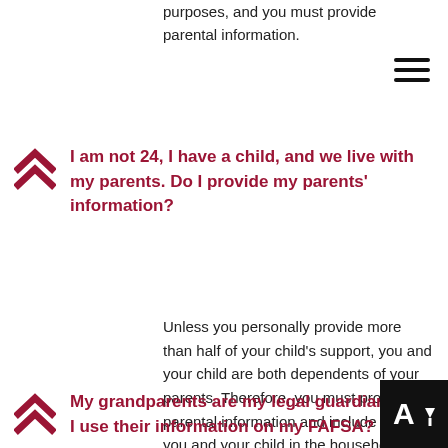purposes, and you must provide parental information.
I am not 24, I have a child, and we live with my parents. Do I provide my parents' information?
Unless you personally provide more than half of your child's support, you and your child are both dependents of your parents. Therefore, you must provide parental information and include both you and your child in the household size.
My grandparents are my legal guardians. Do I use their information on my FAFSA?